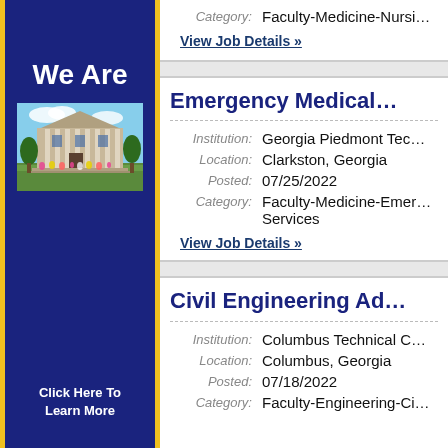[Figure (illustration): Left sidebar with dark navy blue background, yellow/gold border, 'We Are' text in white bold, photo of a classical building/campus, and 'Click Here To Learn More' text at bottom]
Category: Faculty-Medicine-Nursi...
View Job Details »
Emergency Medical...
Institution: Georgia Piedmont Tec...
Location: Clarkston, Georgia
Posted: 07/25/2022
Category: Faculty-Medicine-Emer... Services
View Job Details »
Civil Engineering Ad...
Institution: Columbus Technical C...
Location: Columbus, Georgia
Posted: 07/18/2022
Category: Faculty-Engineering-Ci...